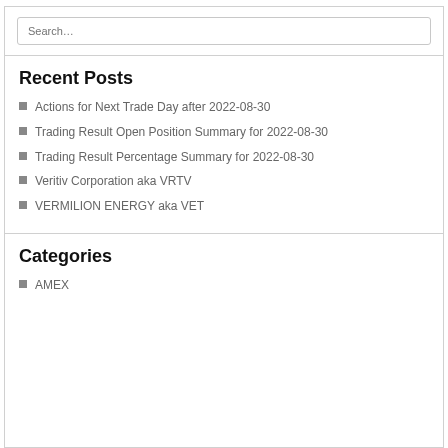Search…
Recent Posts
Actions for Next Trade Day after 2022-08-30
Trading Result Open Position Summary for 2022-08-30
Trading Result Percentage Summary for 2022-08-30
Veritiv Corporation aka VRTV
VERMILION ENERGY aka VET
Categories
AMEX